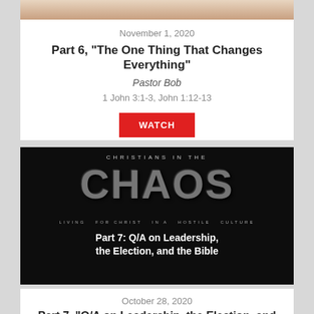[Figure (photo): Partial top image of a person, partially cropped at top of card]
November 1, 2020
Part 6, “The One Thing That Changes Everything”
Pastor Bob
1 John 3:1-3, John 1:12-13
WATCH
[Figure (photo): Dark textured background with large distressed text reading CHRISTIANS IN THE CHAOS with subtitle LIVING FOR CHRIST IN A HOSTILE CULTURE and overlay text Part 7: Q/A on Leadership, the Election, and the Bible]
October 28, 2020
Part 7, “Q/A on Leadership, the Election, and the Bible”